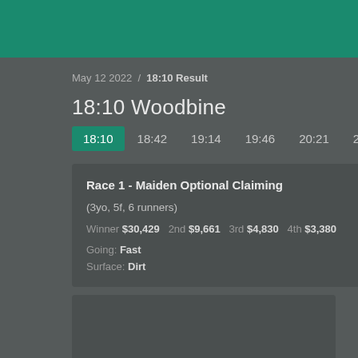May 12 2022 / 18:10 Result
18:10 Woodbine
18:10  18:42  19:14  19:46  20:21  20:53
Race 1 - Maiden Optional Claiming
(3yo, 5f, 6 runners)
Winner $30,429  2nd $9,661  3rd $4,830  4th $3,380
Going: Fast
Surface: Dirt